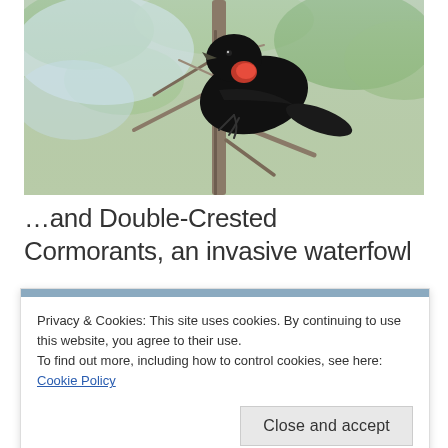[Figure (photo): A black bird with a red patch on its head perched on a branch among bare twigs and green foliage in the background.]
…and Double-Crested Cormorants, an invasive waterfowl
Privacy & Cookies: This site uses cookies. By continuing to use this website, you agree to their use.
To find out more, including how to control cookies, see here: Cookie Policy
[Figure (photo): Partial view of a bird (cormorant) against a blue sky, only the top portion visible at the bottom of the page.]